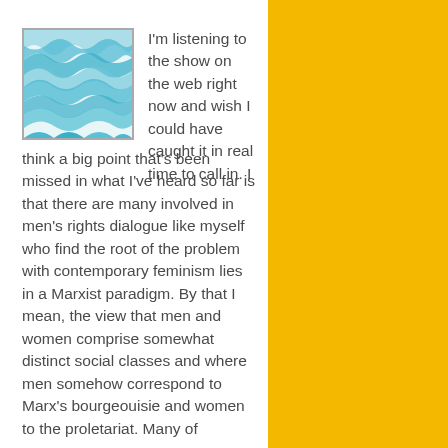[Figure (illustration): A square avatar image depicting stylized blue and teal waves on a white/light background, with a thin grey border.]
I'm listening to the show on the web right now and wish I could have caught it in real time to call in. I think a big point that's been missed in what I've heard so far is that there are many involved in men's rights dialogue like myself who find the root of the problem with contemporary feminism lies in a Marxist paradigm. By that I mean, the view that men and women comprise somewhat distinct social classes and where men somehow correspond to Marx's bourgeouisie and women to the proletariat. Many of